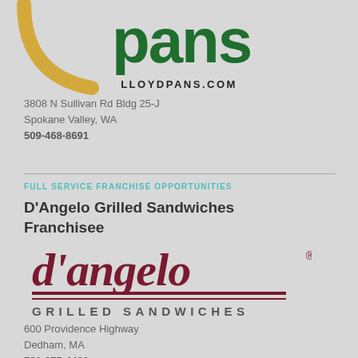[Figure (logo): LloydPans logo with gold arc and green 'pans' text, LLOYDPANS.COM below]
3808 N Sullivan Rd Bldg 25-J
Spokane Valley, WA
509-468-8691
FULL SERVICE FRANCHISE OPPORTUNITIES
D'Angelo Grilled Sandwiches Franchisee
[Figure (logo): D'Angelo Grilled Sandwiches logo with dark red cursive text and double underline, GRILLED SANDWICHES in spaced capitals below]
600 Providence Highway
Dedham, MA
781-275-4400